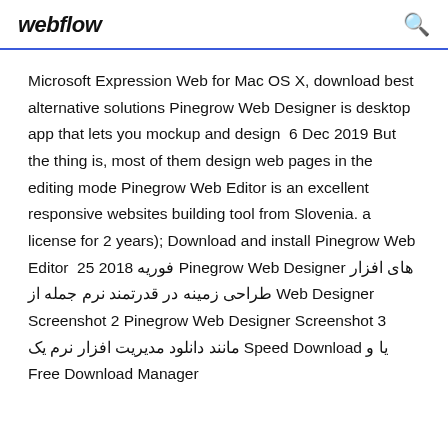webflow
Microsoft Expression Web for Mac OS X, download best alternative solutions Pinegrow Web Designer is desktop app that lets you mockup and design  6 Dec 2019 But the thing is, most of them design web pages in the editing mode Pinegrow Web Editor is an excellent responsive websites building tool from Slovenia. a license for 2 years); Download and install Pinegrow Web Editor  25 2018 فوریه Pinegrow Web Designer های افزار نرم جمله از طراحی زمینه در قدرتمند Web Designer Screenshot 2 Pinegrow Web Designer Screenshot 3 مانند دانلود مدیریت افزار نرم یک Speed Download یا و Free Download Manager